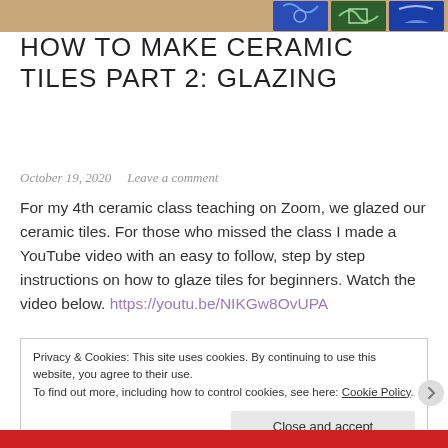[Figure (photo): Decorative ceramic tiles banner image at top of page, tan/brown background with colorful blue and green patterned tiles on the right side]
HOW TO MAKE CERAMIC TILES PART 2: GLAZING
October 19, 2020   Leave a comment
For my 4th ceramic class teaching on Zoom, we glazed our ceramic tiles. For those who missed the class I made a YouTube video with an easy to follow, step by step instructions on how to glaze tiles for beginners. Watch the video below. https://youtu.be/NIKGw8OvUPA
Privacy & Cookies: This site uses cookies. By continuing to use this website, you agree to their use.
To find out more, including how to control cookies, see here: Cookie Policy
Close and accept